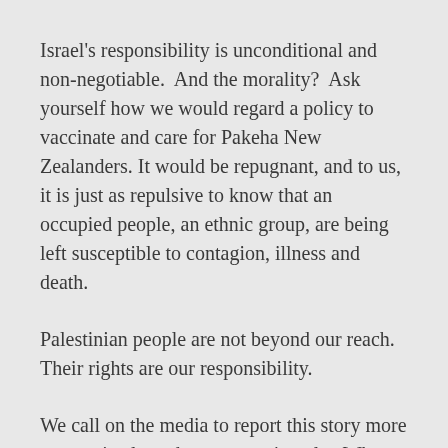Israel's responsibility is unconditional and non-negotiable. And the morality? Ask yourself how we would regard a policy to vaccinate and care for Pakeha New Zealanders. It would be repugnant, and to us, it is just as repulsive to know that an occupied people, an ethnic group, are being left susceptible to contagion, illness and death.
Palestinian people are not beyond our reach. Their rights are our responsibility.
We call on the media to report this story more appropriately and more prominently. When the experience of occupation is grounded in